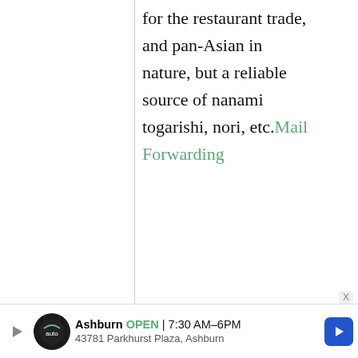for the restaurant trade, and pan-Asian in nature, but a reliable source of nanami togarishi, nori, etc.Mail Forwarding
anon.
7 September, 2012 - 08:33
permalink
Re: Japanese grocery
[Figure (other): Advertisement banner: Ashburn auto service, OPEN 7:30AM-6PM, 43781 Parkhurst Plaza, Ashburn]